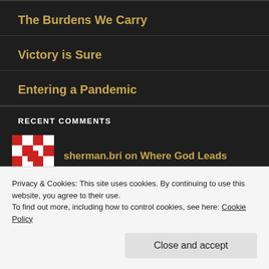The Burdens We Carry
Victory is Sure
Entering a Pandemic
RECENT COMMENTS
sherman.bri on Where God Leads
Natasha on Where God Leads
Privacy & Cookies: This site uses cookies. By continuing to use this website, you agree to their use.
To find out more, including how to control cookies, see here: Cookie Policy